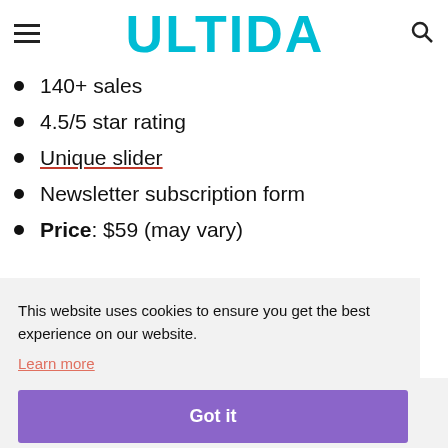≡  ULTIDA  🔍
140+ sales
4.5/5 star rating
Unique slider
Newsletter subscription form
Price: $59 (may vary)
This website uses cookies to ensure you get the best experience on our website. Learn more
Got it